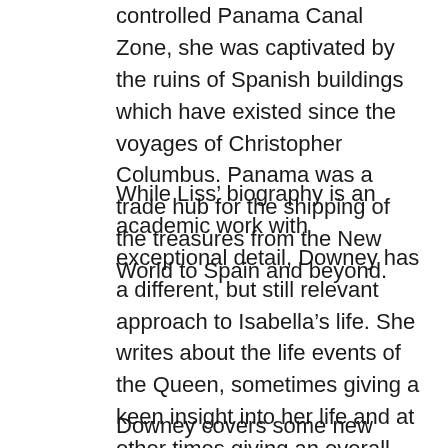controlled Panama Canal Zone, she was captivated by the ruins of Spanish buildings which have existed since the voyages of Christopher Columbus. Panama was a trade hub for the shipping of the treasures from the New World to Spain and beyond.
While Liss’ biography is an academic work with exceptional detail, Downey has a different, but still relevant approach to Isabella’s life. She writes about the life events of the Queen, sometimes giving a keen insight into her life and at other times giving an overall picture. There is a little more detail in Downey’s book about Christopher Columbus and his voyages and their impact on Spain as well as the entire world.
Downey covers some new material here as well.